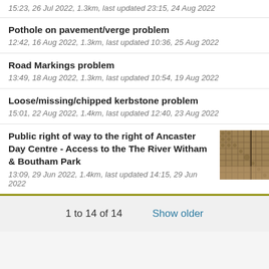15:23, 26 Jul 2022, 1.3km, last updated 23:15, 24 Aug 2022
Pothole on pavement/verge problem
12:42, 16 Aug 2022, 1.3km, last updated 10:36, 25 Aug 2022
Road Markings problem
13:49, 18 Aug 2022, 1.3km, last updated 10:54, 19 Aug 2022
Loose/missing/chipped kerbstone problem
15:01, 22 Aug 2022, 1.4km, last updated 12:40, 23 Aug 2022
Public right of way to the right of Ancaster Day Centre - Access to the The River Witham & Boutham Park
13:09, 29 Jun 2022, 1.4km, last updated 14:15, 29 Jun 2022
1 to 14 of 14
Show older